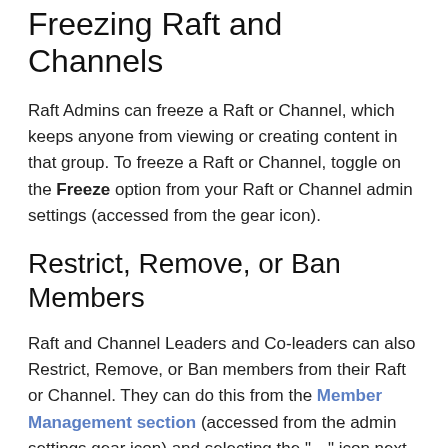Freezing Raft and Channels
Raft Admins can freeze a Raft or Channel, which keeps anyone from viewing or creating content in that group. To freeze a Raft or Channel, toggle on the Freeze option from your Raft or Channel admin settings (accessed from the gear icon).
Restrict, Remove, or Ban Members
Raft and Channel Leaders and Co-leaders can also Restrict, Remove, or Ban members from their Raft or Channel. They can do this from the Member Management section (accessed from the admin settings gear icon) and selecting the "…" icon next to someone's name.
Restricting someone means that they can view content but cannot create or interact with content on that Raft. This ensures that they will not miss any important information distributed in the Raft, but are